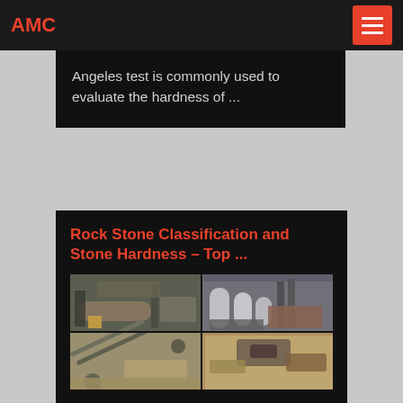AMC
Angeles test is commonly used to evaluate the hardness of ...
Rock Stone Classification and Stone Hardness – Top ...
[Figure (photo): Four-panel photo grid showing mining and stone processing equipment: top-left shows industrial rotary kiln/mill machinery, top-right shows silos and industrial processing plant, bottom-left shows aggregate conveyor and pile, bottom-right shows open-pit mining excavation.]
2017-7-9 · The hardness of stone is measured by Mohs hardness as a